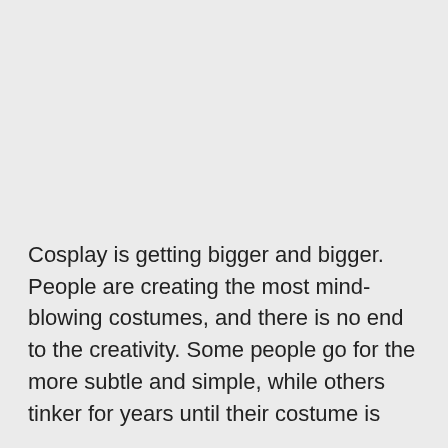Cosplay is getting bigger and bigger. People are creating the most mind-blowing costumes, and there is no end to the creativity. Some people go for the more subtle and simple, while others tinker for years until their costume is